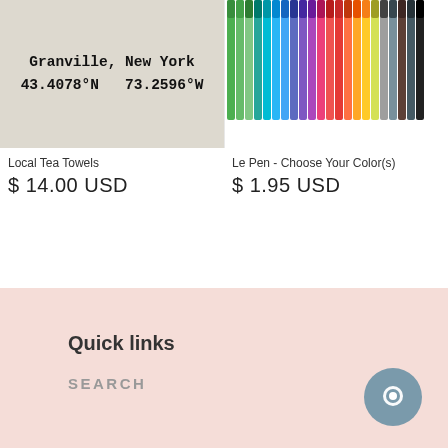[Figure (photo): Tea towel with text 'Granville, New York 43.4078°N 73.2596°W' in typewriter font]
[Figure (photo): Row of colorful Le Pen markers/pens in many colors including green, teal, blue, purple, pink, red, orange and more]
Local Tea Towels
$ 14.00 USD
Le Pen - Choose Your Color(s)
$ 1.95 USD
Quick links
SEARCH